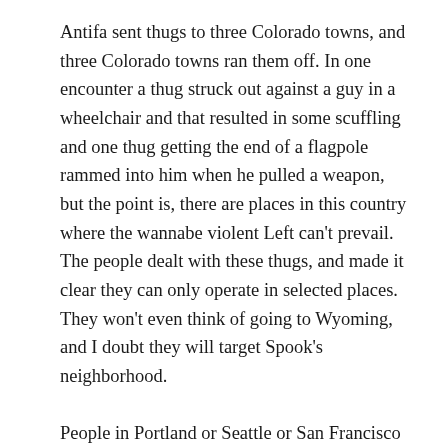Antifa sent thugs to three Colorado towns, and three Colorado towns ran them off. In one encounter a thug struck out against a guy in a wheelchair and that resulted in some scuffling and one thug getting the end of a flagpole rammed into him when he pulled a weapon, but the point is, there are places in this country where the wannabe violent Left can't prevail. The people dealt with these thugs, and made it clear they can only operate in selected places. They won't even think of going to Wyoming, and I doubt they will target Spook's neighborhood.
People in Portland or Seattle or San Francisco or Chicago have the ability to run these thugs out of their towns, too. They choose not to. They choose to live under the